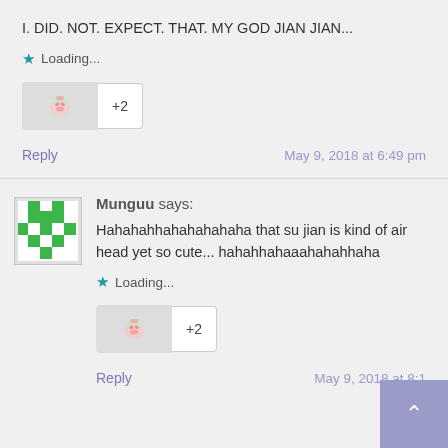I. DID. NOT. EXPECT. THAT. MY GOD JIAN JIAN...
Loading...
+2
Reply
May 9, 2018 at 6:49 pm
Munguu says:
Hahahahhahahahahaha that su jian is kind of air head yet so cute... hahahhahaaahahahhaha
Loading...
+2
Reply
May 9, 2018 at 8:1